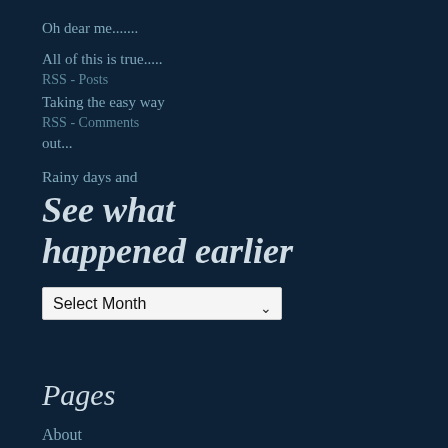Oh dear me.......
All of this is true.....
RSS - Posts
Taking the easy way out...
RSS - Comments
Rainy days and
See what happened earlier
Select Month
Pages
About
Books read – 2013/2014
Books read – 2015/2016